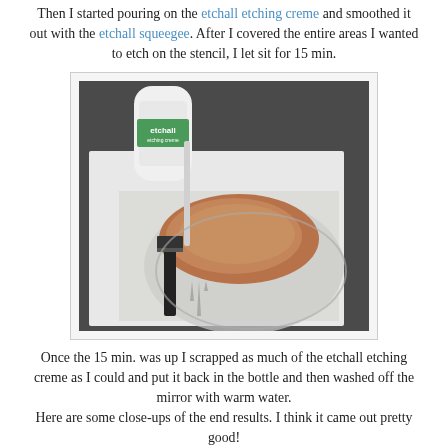Then I started pouring on the etchall etching creme and smoothed it out with the etchall squeegee. After I covered the entire areas I wanted to etch on the stencil, I let sit for 15 min.
[Figure (photo): Photo showing a mirror with etchall etching creme (brown paste) spread on a stencil, with a squeegee tool and the etchall etching creme bottle visible.]
Once the 15 min. was up I scrapped as much of the etchall etching creme as I could and put it back in the bottle and then washed off the mirror with warm water. Here are some close-ups of the end results. I think it came out pretty good!